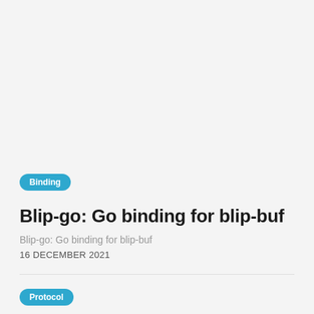Binding
Blip-go: Go binding for blip-buf
Blip-go: Go binding for blip-buf
16 DECEMBER 2021
Protocol
Go support for Protocol Buffers -